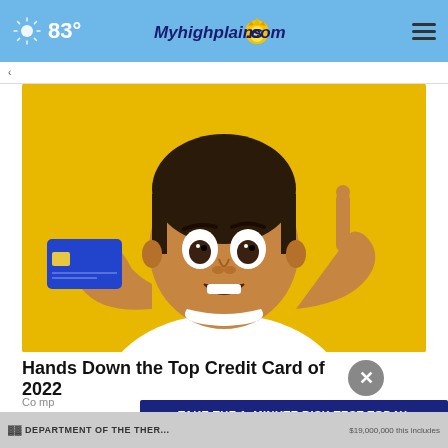83° Myhighplains.com
[Figure (photo): Young man holding a blue credit card with one finger raised, against a yellow background, with an excited/surprised expression]
Hands Down the Top Credit Card of 2022
Comp
[Figure (infographic): Ad banner: TAKE THE 1-MINUTE RISK TEST TODAY. DolHavePrediabetes.org with ad council, AMA, and CDC logos]
DEPARTMENT OF THE THER... $19,000,000 this includes